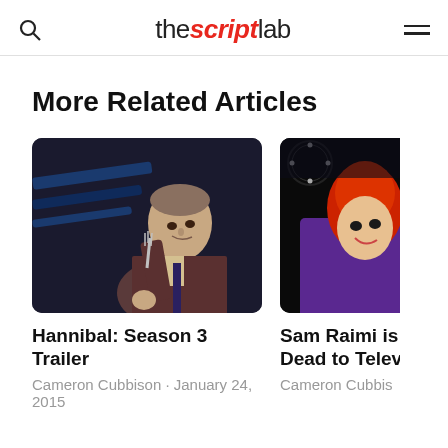the script lab
More Related Articles
[Figure (photo): A man in a suit holding a fork-like utensil, looking upward in a dark dramatic scene — still from Hannibal Season 3]
Hannibal: Season 3 Trailer
Cameron Cubbison · January 24, 2015
[Figure (photo): Partially visible image of a person — cropped on the right edge, dark background — related to Sam Raimi article]
Sam Raimi is Bringing Evil Dead to Telev
Cameron Cubbis